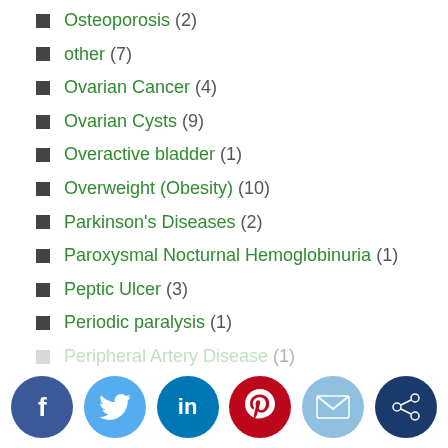Osteoporosis (2)
other (7)
Ovarian Cancer (4)
Ovarian Cysts (9)
Overactive bladder (1)
Overweight (Obesity) (10)
Parkinson's Diseases (2)
Paroxysmal Nocturnal Hemoglobinuria (1)
Peptic Ulcer (3)
Periodic paralysis (1)
Peripheral Artery Disease (1)